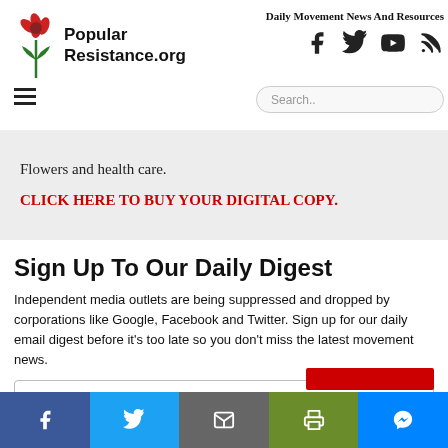Popular Resistance.org — Daily Movement News And Resources
Flowers and health care.
CLICK HERE TO BUY YOUR DIGITAL COPY.
Sign Up To Our Daily Digest
Independent media outlets are being suppressed and dropped by corporations like Google, Facebook and Twitter. Sign up for our daily email digest before it’s too late so you don’t miss the latest movement news.
Email